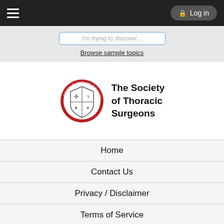Log in
Browse sample topics
[Figure (logo): The Society of Thoracic Surgeons circular seal/crest logo in red and white, with shield emblem]
The Society of Thoracic Surgeons
Home
Contact Us
Privacy / Disclaimer
Terms of Service